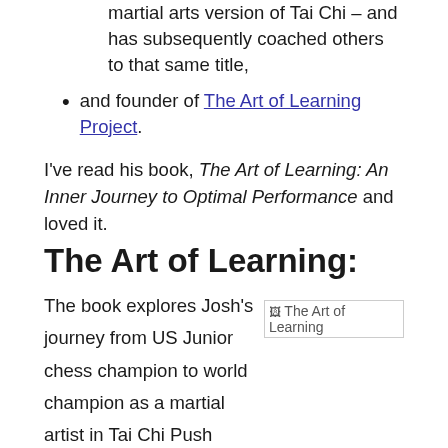martial arts version of Tai Chi – and has subsequently coached others to that same title,
and founder of The Art of Learning Project.
I've read his book, The Art of Learning: An Inner Journey to Optimal Performance and loved it.
The Art of Learning:
The book explores Josh's journey from US Junior chess champion to world champion as a martial artist in Tai Chi Push Hands. As he learned TaiChi, Josh began to see how his deep
[Figure (other): Broken image placeholder labeled 'The Art of Learning']